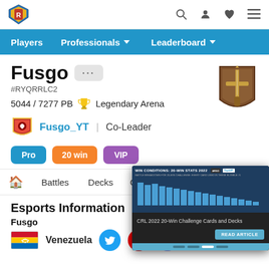Fusgo #RYQRRLC2 5044 / 7277 PB Legendary Arena - Player Profile
Players  Professionals  Leaderboard
Fusgo
#RYQRRLC2
5044 / 7277 PB  Legendary Arena
Fusgo_YT | Co-Leader
Pro  20 win  VIP
Battles  Decks  Cards
Esports Information
Fusgo
Venezuela
[Figure (screenshot): Popup overlay showing WIN CONDITIONS: 20-WIN STATS 2022 bar chart with text CRL 2022 20-Win Challenge Cards and Decks and READ ARTICLE button]